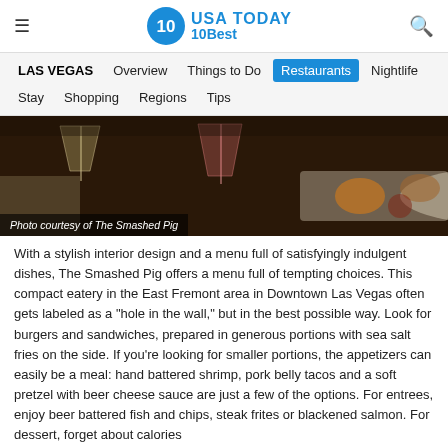USA TODAY 10Best
LAS VEGAS | Overview | Things to Do | Restaurants | Nightlife | Stay | Shopping | Regions | Tips
[Figure (photo): Restaurant table with cocktails in stemmed glasses and food on white plates, dark wood background. Caption: Photo courtesy of The Smashed Pig]
Photo courtesy of The Smashed Pig
With a stylish interior design and a menu full of satisfyingly indulgent dishes, The Smashed Pig offers a menu full of tempting choices. This compact eatery in the East Fremont area in Downtown Las Vegas often gets labeled as a "hole in the wall," but in the best possible way. Look for burgers and sandwiches, prepared in generous portions with sea salt fries on the side. If you're looking for smaller portions, the appetizers can easily be a meal: hand battered shrimp, pork belly tacos and a soft pretzel with beer cheese sauce are just a few of the options. For entrees, enjoy beer battered fish and chips, steak frites or blackened salmon. For dessert, forget about calories